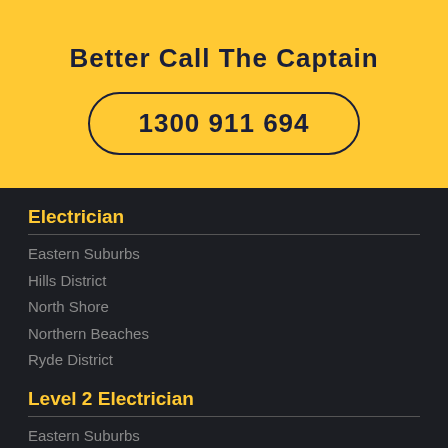Better Call The Captain
1300 911 694
Electrician
Eastern Suburbs
Hills District
North Shore
Northern Beaches
Ryde District
Level 2 Electrician
Eastern Suburbs
Hills District